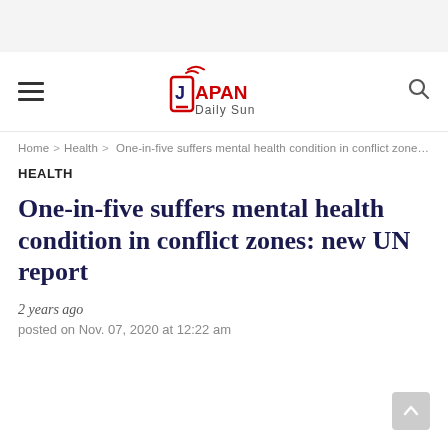Japan Daily Sun — navigation header with hamburger menu and search icon
Home > Health > One-in-five suffers mental health condition in conflict zones…
HEALTH
One-in-five suffers mental health condition in conflict zones: new UN report
2 years ago
posted on Nov. 07, 2020 at 12:22 am